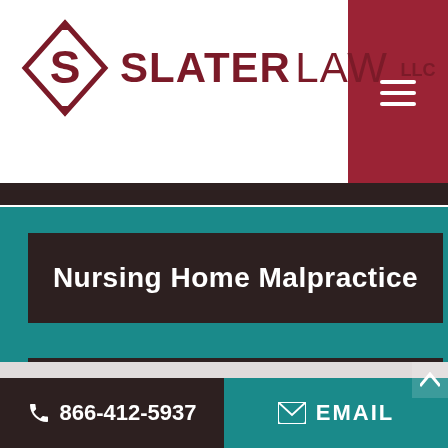[Figure (logo): Slater Law LLC logo with diamond S icon and text]
Nursing Home Malpractice
Legal Malpractice
866-412-5937
EMAIL